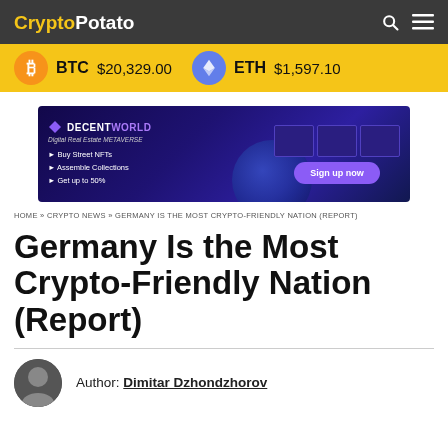CryptoPotato
BTC $20,329.00  ETH $1,597.10
[Figure (infographic): DecentWorld Digital Real Estate METAVERSE advertisement banner. Features text: Buy Street NFTs, Assemble Collections, Get up to 50%. Sign up now button.]
HOME » CRYPTO NEWS » GERMANY IS THE MOST CRYPTO-FRIENDLY NATION (REPORT)
Germany Is the Most Crypto-Friendly Nation (Report)
Author: Dimitar Dzhondzhorov